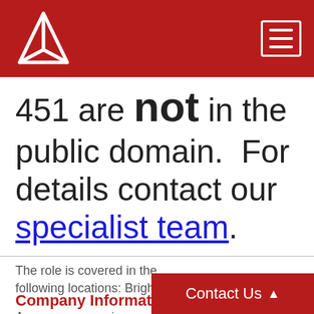451 Research logo and navigation header
451 are NOT in the public domain.  For details contact our specialist team.
The role is covered in the following locations: Brighton
Company Information
Are you an experienced